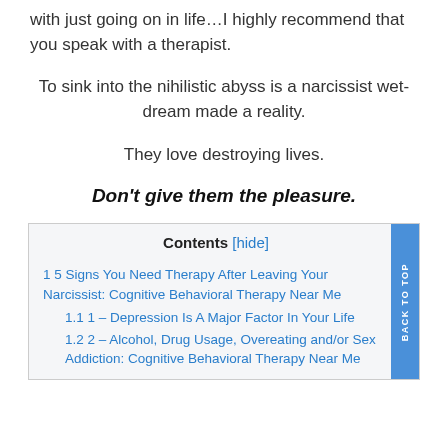with just going on in life…I highly recommend that you speak with a therapist.
To sink into the nihilistic abyss is a narcissist wet-dream made a reality.
They love destroying lives.
Don't give them the pleasure.
| Contents [hide] |
| --- |
| 1 5 Signs You Need Therapy After Leaving Your Narcissist: Cognitive Behavioral Therapy Near Me |
| 1.1 1 – Depression Is A Major Factor In Your Life |
| 1.2 2 – Alcohol, Drug Usage, Overeating and/or Sex Addiction: Cognitive Behavioral Therapy Near Me |